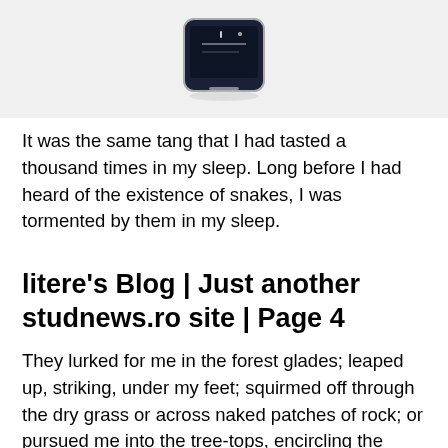[Figure (photo): A small dark electronic device (looks like a portable gadget or reader) with a screen showing some text, photographed against a light grey background.]
It was the same tang that I had tasted a thousand times in my sleep. Long before I had heard of the existence of snakes, I was tormented by them in my sleep.
litere's Blog | Just another studnews.ro site | Page 4
They lurked for me in the forest glades; leaped up, striking, under my feet; squirmed off through the dry grass or across naked patches of rock; or pursued me into the tree-tops, encircling the trunks with their great shining bodies, driving me higher and higher or farther and farther out on swaying and crackling branches, the ground lipo viteza us find burner dizzy dista...